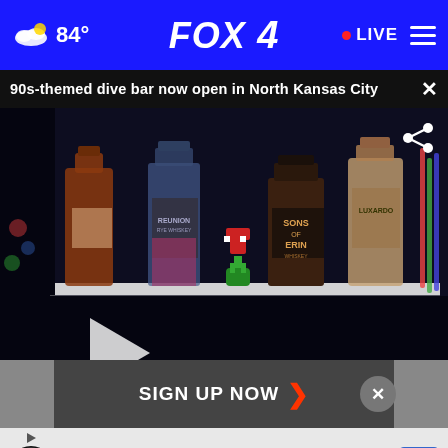84° FOX 4 LIVE
90s-themed dive bar now open in North Kansas City
[Figure (screenshot): Video thumbnail showing liquor bottles on a shelf at a 90s-themed dive bar, with a play button overlay and share icon.]
SIGN UP NOW
Ashburn OPEN | 7:30 AM–6PM 43781 Parkhurst Plaza, Ashburn